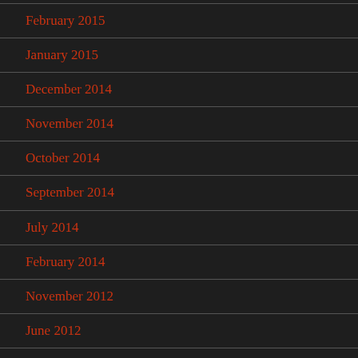February 2015
January 2015
December 2014
November 2014
October 2014
September 2014
July 2014
February 2014
November 2012
June 2012
September 2011